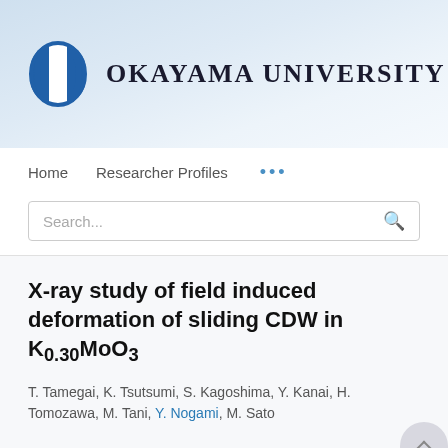[Figure (logo): Okayama University logo: blue oval/pill-shaped icon with white center bar, beside text 'OKAYAMA UNIVERSITY' in serif bold font, on a light blue gradient banner background.]
Home   Researcher Profiles   ...
Search...
X-ray study of field induced deformation of sliding CDW in K0.30MoO3
T. Tamegai, K. Tsutsumi, S. Kagoshima, Y. Kanai, H. Tomozawa, M. Tani, Y. Nogami, M. Sato